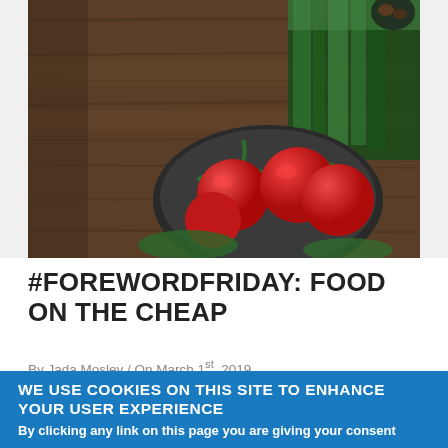[Figure (photo): Overhead view of cherry tomatoes in a bowl and leeks/green vegetables on a dark wooden table background]
#FOREWORDFRIDAY: FOOD ON THE CHEAP
By Jada Mosley / On March 1st, 2019
WE USE COOKIES ON THIS SITE TO ENHANCE YOUR USER EXPERIENCE
By clicking any link on this page you are giving your consent